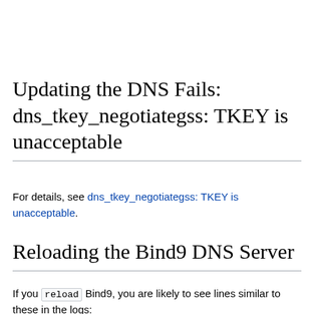Updating the DNS Fails: dns_tkey_negotiategss: TKEY is unacceptable
For details, see dns_tkey_negotiategss: TKEY is unacceptable.
Reloading the Bind9 DNS Server
If you reload Bind9, you are likely to see lines similar to these in the logs: